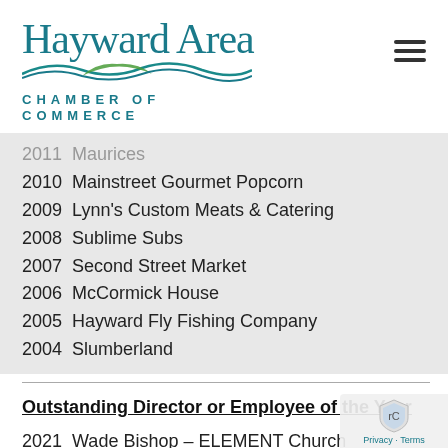[Figure (logo): Hayward Area Chamber of Commerce logo with teal serif wordmark 'Hayward Area', stylized teal and green wave, and 'CHAMBER OF COMMERCE' in spaced teal sans-serif caps]
2011  Maurices
2010  Mainstreet Gourmet Popcorn
2009  Lynn's Custom Meats & Catering
2008  Sublime Subs
2007  Second Street Market
2006  McCormick House
2005  Hayward Fly Fishing Company
2004  Slumberland
Outstanding Director or Employee of the Year
2021  Wade Bishop – ELEMENT Church